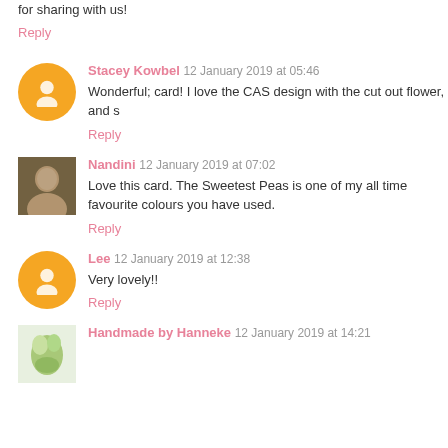for sharing with us!
Reply
Stacey Kowbel  12 January 2019 at 05:46
Wonderful; card! I love the CAS design with the cut out flower, and s
Reply
Nandini  12 January 2019 at 07:02
Love this card. The Sweetest Peas is one of my all time favourite colours you have used.
Reply
Lee  12 January 2019 at 12:38
Very lovely!!
Reply
Handmade by Hanneke  12 January 2019 at 14:21